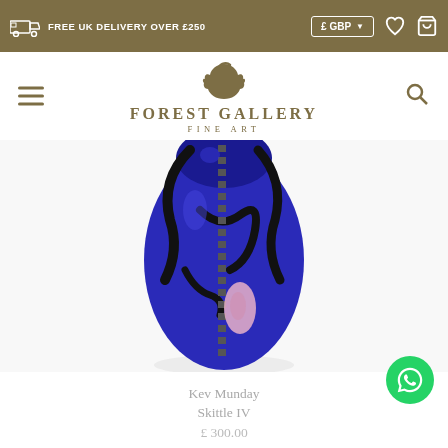FREE UK DELIVERY OVER £250 | £ GBP
FOREST GALLERY FINE ART
[Figure (photo): Blue ceramic vase 'Skittle IV' by Kev Munday with decorative black and grey dashed stripe pattern and pink accent, photographed against white background]
Kev Munday
Skittle IV
£ 300.00